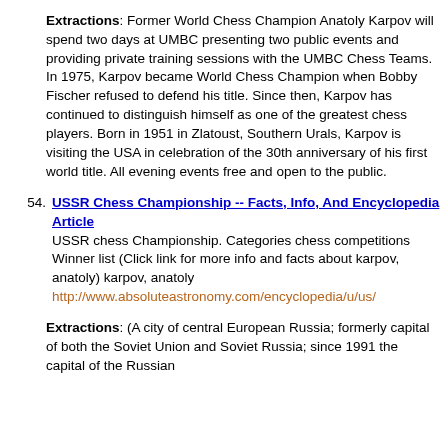events and providing private training sessions with the UMBC
http://sta.umbc.edu/orgs/chess/karpov.htm
Extractions: Former World Chess Champion Anatoly Karpov will spend two days at UMBC presenting two public events and providing private training sessions with the UMBC Chess Teams. In 1975, Karpov became World Chess Champion when Bobby Fischer refused to defend his title. Since then, Karpov has continued to distinguish himself as one of the greatest chess players. Born in 1951 in Zlatoust, Southern Urals, Karpov is visiting the USA in celebration of the 30th anniversary of his first world title. All evening events free and open to the public.
54. USSR Chess Championship -- Facts, Info, And Encyclopedia Article
USSR chess Championship. Categories chess competitions Winner list (Click link for more info and facts about karpov, anatoly) karpov, anatoly
http://www.absoluteastronomy.com/encyclopedia/u/us/
Extractions: (A city of central European Russia; formerly capital of both the Soviet Union and Soviet Russia; since 1991 the capital of the Russian